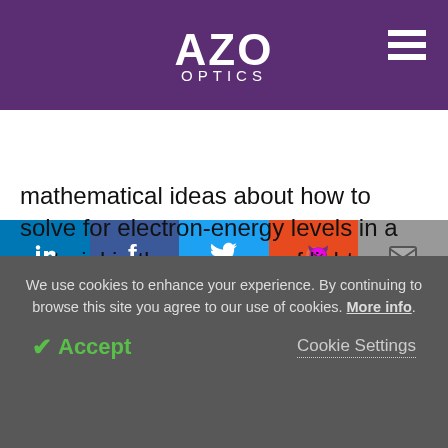AZO OPTICS
[Figure (infographic): Social media share buttons: LinkedIn, Facebook, Twitter, Reddit, Email]
mathematical ideas about how to solve for electron-energy levels in a material in the presence of light. Building on this work, Hsieh's Caltech team collaborated with theorists Mengxing Ye and Leon Balents from UC Santa Barbara to calculate the expected effects of laser illumination in manganese phosphor trisulphide. The theory matched the
We use cookies to enhance your experience. By continuing to browse this site you agree to our use of cookies. More info.
✓ Accept   Cookie Settings